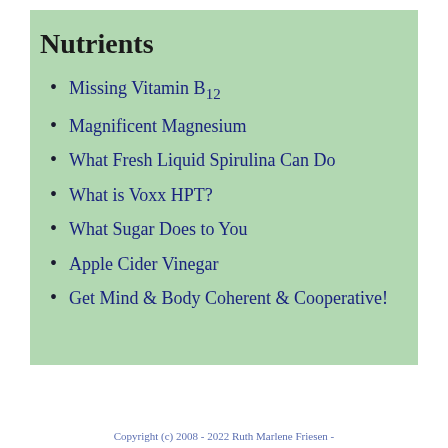Nutrients
Missing Vitamin B12
Magnificent Magnesium
What Fresh Liquid Spirulina Can Do
What is Voxx HPT?
What Sugar Does to You
Apple Cider Vinegar
Get Mind & Body Coherent & Cooperative!
Copyright (c) 2008 - 2022 Ruth Marlene Friesen -